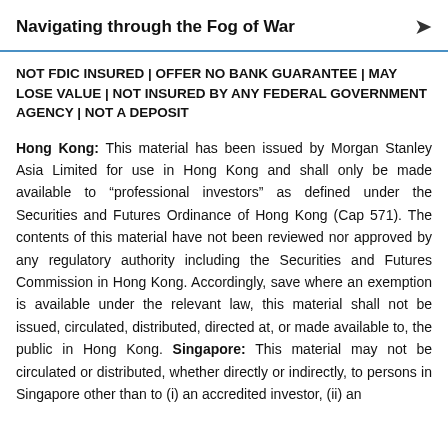Navigating through the Fog of War
NOT FDIC INSURED | OFFER NO BANK GUARANTEE | MAY LOSE VALUE | NOT INSURED BY ANY FEDERAL GOVERNMENT AGENCY | NOT A DEPOSIT
Hong Kong: This material has been issued by Morgan Stanley Asia Limited for use in Hong Kong and shall only be made available to “professional investors” as defined under the Securities and Futures Ordinance of Hong Kong (Cap 571). The contents of this material have not been reviewed nor approved by any regulatory authority including the Securities and Futures Commission in Hong Kong. Accordingly, save where an exemption is available under the relevant law, this material shall not be issued, circulated, distributed, directed at, or made available to, the public in Hong Kong. Singapore: This material may not be circulated or distributed, whether directly or indirectly, to persons in Singapore other than to (i) an accredited investor, (ii) an